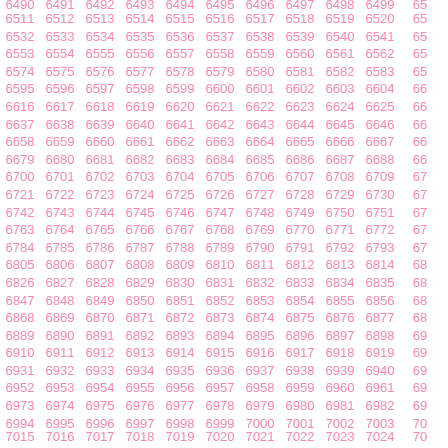Grid of numbers from 6511 to 7024+ arranged in rows of 21 numbers each, incrementing by 21 per row, displayed in pink/salmon color